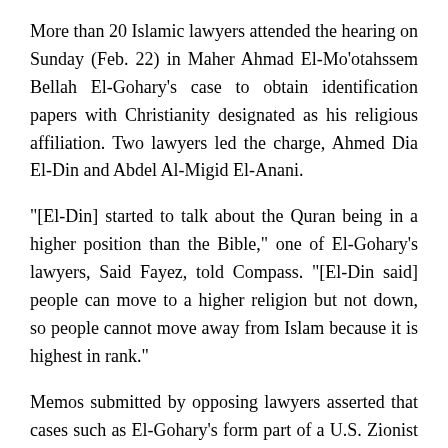More than 20 Islamic lawyers attended the hearing on Sunday (Feb. 22) in Maher Ahmad El-Mo'otahssem Bellah El-Gohary's case to obtain identification papers with Christianity designated as his religious affiliation. Two lawyers led the charge, Ahmed Dia El-Din and Abdel Al-Migid El-Anani.
“[El-Din] started to talk about the Quran being in a higher position than the Bible,” one of El-Gohary’s lawyers, Said Fayez, told Compass. “[El-Din said] people can move to a higher religion but not down, so people cannot move away from Islam because it is highest in rank.”
Memos submitted by opposing lawyers asserted that cases such as El-Gohary’s form part of a U.S. Zionist attack on Islam in Egypt, that Christianity is an inferior religion to Islam and that Copts protect and defend converts from Islam at their own peril.
“We received 150 pages from them that talked about religion,”